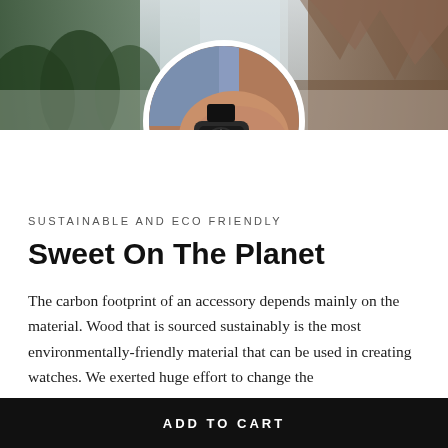[Figure (photo): Top banner with nature landscape showing forest and rocky mountain scenery, with a circular inset photo of a hand wearing a wood watch, denim sleeve visible, circular frame with white border]
SUSTAINABLE AND ECO FRIENDLY
Sweet On The Planet
The carbon footprint of an accessory depends mainly on the material. Wood that is sourced sustainably is the most environmentally-friendly material that can be used in creating watches. We exerted huge effort to change the
ADD TO CART